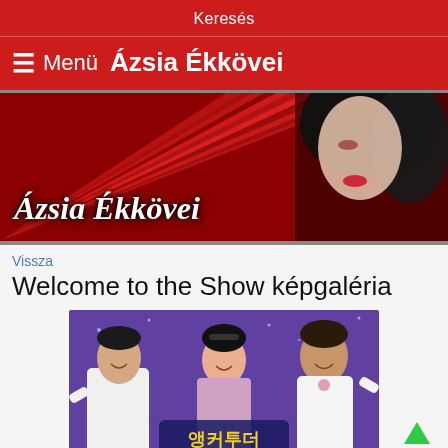Keresés
☰ Menü  Ázsia Ékkövei
[Figure (illustration): Banner image for Ázsia Ékkövei website with red background, fan-like radiating strips, a woman's face on the right, and italic white text 'Ázsia Ékkövei' on the lower left.]
Vissza
Welcome to the Show képgaléria
[Figure (photo): Photo of three smiling Korean entertainers (two men and one woman) against a purple sparkly background. Korean text at the bottom reads '앵커투더'.]